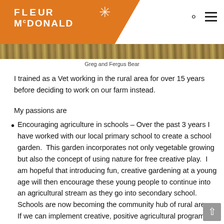Fleur McDonald
[Figure (photo): Cropped photo of rural field/wheat scenery used as a banner strip]
Greg and Fergus Bear
I trained as a Vet working in the rural area for over 15 years before deciding to work on our farm instead.
My passions are
Encouraging agriculture in schools – Over the past 3 years I have worked with our local primary school to create a school garden.  This garden incorporates not only vegetable growing but also the concept of using nature for free creative play.  I am hopeful that introducing fun, creative gardening at a young age will then encourage these young people to continue into an agricultural stream as they go into secondary school.  Schools are now becoming the community hub of rural areas. If we can implement creative, positive agricultural programs at the